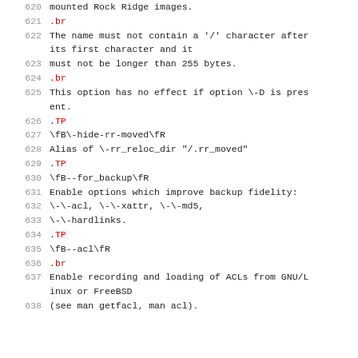620   mounted Rock Ridge images.
621   .br
622   The name must not contain a '/' character after its first character and it
623   must not be longer than 255 bytes.
624   .br
625   This option has no effect if option \-D is present.
626   .TP
627   \fB\-hide-rr-moved\fR
628   Alias of \-rr_reloc_dir "/.rr_moved"
629   .TP
630   \fB--for_backup\fR
631   Enable options which improve backup fidelity:
632   \-\-acl, \-\-xattr, \-\-md5,
633   \-\-hardlinks.
634   .TP
635   \fB--acl\fR
636   .br
637   Enable recording and loading of ACLs from GNU/Linux or FreeBSD
638   (see man getfacl, man acl).